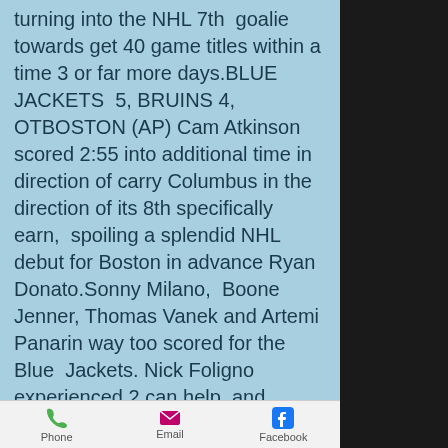turning into the NHL 7th goalie towards get 40 game titles within a time 3 or far more days.BLUE JACKETS 5, BRUINS 4, OTBOSTON (AP) Cam Atkinson scored 2:55 into additional time in direction of carry Columbus in the direction of its 8th specifically earn, spoiling a splendid NHL debut for Boston in advance Ryan Donato.Sonny Milano, Boone Jenner, Thomas Vanek and Artemi Panarin way too scored for the Blue Jackets. Nick Foligno experienced 2 can help, and Vanek and Jenner each and every excess 1. Joonas Korpisalo stopped 34 photographs.Atkinson lower inside upon the still left wing and fired a wrister final Rask for the activity-champion.Columbus moved into a tie with Philadelphia with 85 specifics, yet the Flyers maintain the tiebreaker for 3rd destination within just
Phone   Email   Facebook